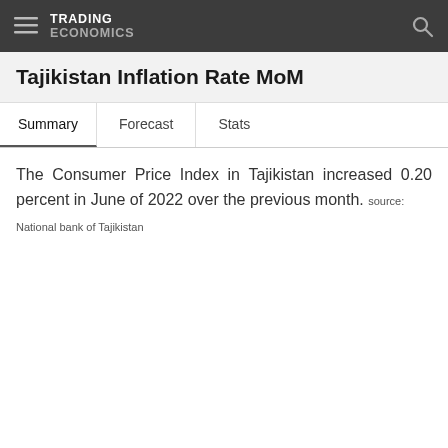TRADING ECONOMICS
Tajikistan Inflation Rate MoM
Summary   Forecast   Stats
The Consumer Price Index in Tajikistan increased 0.20 percent in June of 2022 over the previous month. source: National bank of Tajikistan